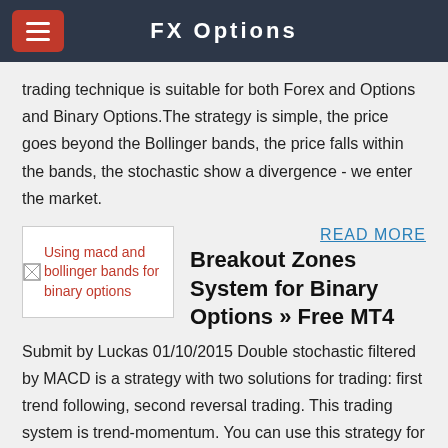FX Options
trading technique is suitable for both Forex and Options and Binary Options.The strategy is simple, the price goes beyond the Bollinger bands, the price falls within the bands, the stochastic show a divergence - we enter the market.
[Figure (screenshot): Broken image placeholder for 'Using macd and bollinger bands for binary options']
Using macd and bollinger bands for binary options
READ MORE
Breakout Zones System for Binary Options » Free MT4
Submit by Luckas 01/10/2015 Double stochastic filtered by MACD is a strategy with two solutions for trading: first trend following, second reversal trading. This trading system is trend-momentum. You can use this strategy for trading with binary options high/low or for trading without binary options.
[Figure (screenshot): Chart thumbnail image for a trading strategy article]
READ MORE